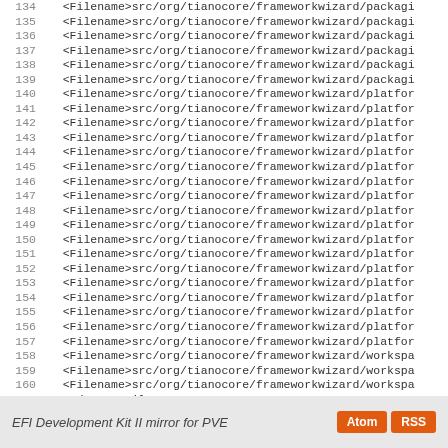134  <Filename>src/org/tianocore/frameworkwizard/packagi
135  <Filename>src/org/tianocore/frameworkwizard/packagi
136  <Filename>src/org/tianocore/frameworkwizard/packagi
137  <Filename>src/org/tianocore/frameworkwizard/packagi
138  <Filename>src/org/tianocore/frameworkwizard/packagi
139  <Filename>src/org/tianocore/frameworkwizard/packagi
140  <Filename>src/org/tianocore/frameworkwizard/platfor
141  <Filename>src/org/tianocore/frameworkwizard/platfor
142  <Filename>src/org/tianocore/frameworkwizard/platfor
143  <Filename>src/org/tianocore/frameworkwizard/platfor
144  <Filename>src/org/tianocore/frameworkwizard/platfor
145  <Filename>src/org/tianocore/frameworkwizard/platfor
146  <Filename>src/org/tianocore/frameworkwizard/platfor
147  <Filename>src/org/tianocore/frameworkwizard/platfor
148  <Filename>src/org/tianocore/frameworkwizard/platfor
149  <Filename>src/org/tianocore/frameworkwizard/platfor
150  <Filename>src/org/tianocore/frameworkwizard/platfor
151  <Filename>src/org/tianocore/frameworkwizard/platfor
152  <Filename>src/org/tianocore/frameworkwizard/platfor
153  <Filename>src/org/tianocore/frameworkwizard/platfor
154  <Filename>src/org/tianocore/frameworkwizard/platfor
155  <Filename>src/org/tianocore/frameworkwizard/platfor
156  <Filename>src/org/tianocore/frameworkwizard/platfor
157  <Filename>src/org/tianocore/frameworkwizard/platfor
158  <Filename>src/org/tianocore/frameworkwizard/worksp a
159  <Filename>src/org/tianocore/frameworkwizard/worksp a
160  <Filename>src/org/tianocore/frameworkwizard/worksp a
161    </SourceFiles>
162  </ModuleSurfaceArea>
EFI Development Kit II mirror for PVE